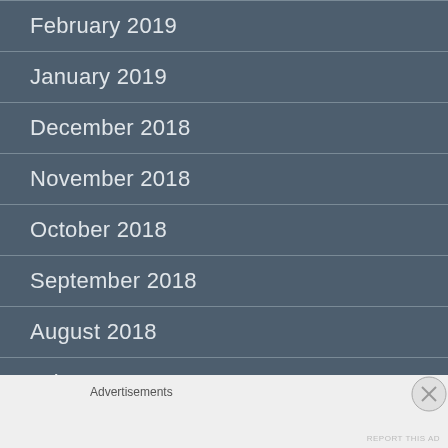February 2019
January 2019
December 2018
November 2018
October 2018
September 2018
August 2018
July 2018
June 2018
Advertisements
REPORT THIS AD